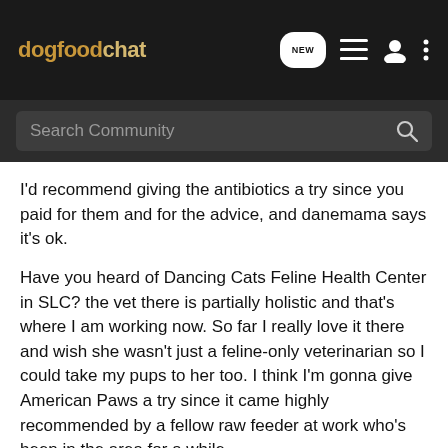dogfoodchat
I'd recommend giving the antibiotics a try since you paid for them and for the advice, and danemama says it's ok.
Have you heard of Dancing Cats Feline Health Center in SLC? the vet there is partially holistic and that's where I am working now. So far I really love it there and wish she wasn't just a feline-only veterinarian so I could take my pups to her too. I think I'm gonna give American Paws a try since it came highly recommended by a fellow raw feeder at work who's been in the area for a while.
An ounce of nutrition is worth a pound of vet bills.